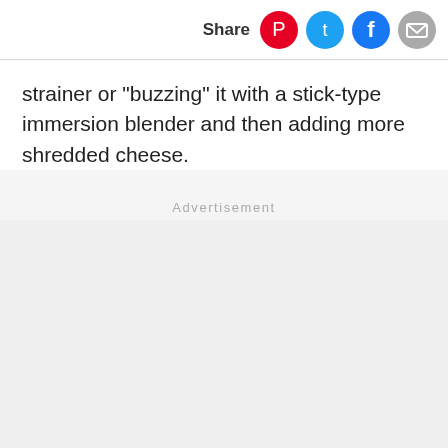Share
strainer or "buzzing" it with a stick-type immersion blender and then adding more shredded cheese.
Advertisement